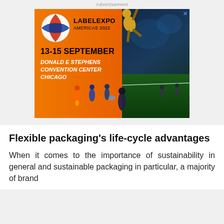Advertisement
[Figure (illustration): LabelExpo Americas 2022 advertisement banner. Features a globe logo on the left, bold text reading '13-15 SEPTEMBER' and 'DONALD E STEPHENS CONVENTION CENTER CHICAGO' on an orange background, with futuristic robot soccer players on a green field on the right side. An X close button appears in the top right corner.]
Flexible packaging's life-cycle advantages
When it comes to the importance of sustainability in general and sustainable packaging in particular, a majority of brand